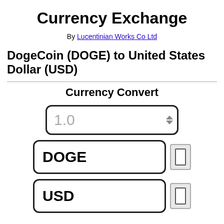Currency Exchange
By Lucentinian Works Co Ltd
DogeCoin (DOGE) to United States Dollar (USD)
Currency Convert
[Figure (screenshot): Number input field showing value 1.0 with up/down spinner arrows, followed by currency selector fields for DOGE and USD each with a toggle button]